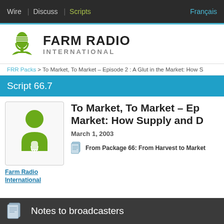Wire | Discuss | Scripts | Français
[Figure (logo): Farm Radio International logo with microphone and plant graphic]
FRR Packs > To Market, To Market – Episode 2 : A Glut in the Market: How S...
Script 66.7
[Figure (illustration): Green person silhouette with microphone icon]
To Market, To Market – Episode 2 : A Glut in the Market: How Supply and Demand Work
March 1, 2003
From Package 66: From Harvest to Market
Farm Radio International
Notes to broadcasters